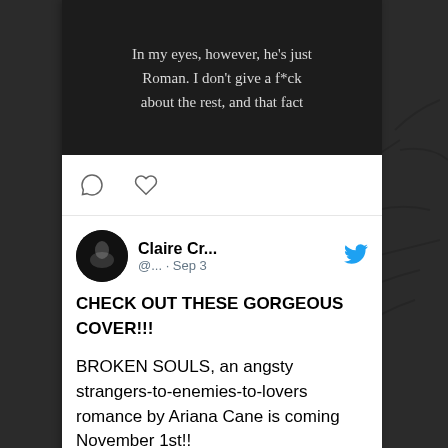[Figure (screenshot): Dark book cover image with white text quote: 'In my eyes, however, he's just Roman. I don't give a f*ck about the rest, and that fact']
[Figure (screenshot): Twitter/social media post by Claire Cr... (@...) dated Sep 3 with Twitter bird icon. Text: CHECK OUT THESE GORGEOUS COVER!!! BROKEN SOULS, an angsty strangers-to-enemies-to-lovers romance by Ariana Cane is coming November 1st!! Add to Goodreads today!! goodreads.com/book/show/6219...]
[Figure (photo): Bottom strip of a book cover image, colorful, partially visible]